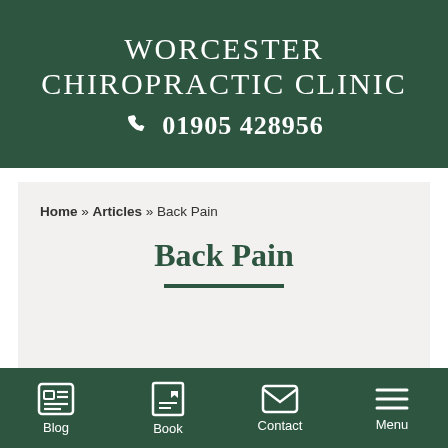WORCESTER CHIROPRACTIC CLINIC
☎ 01905 428956
Home » Articles » Back Pain
Back Pain
My Back Has Gone!
Blog  Book  Contact  Menu